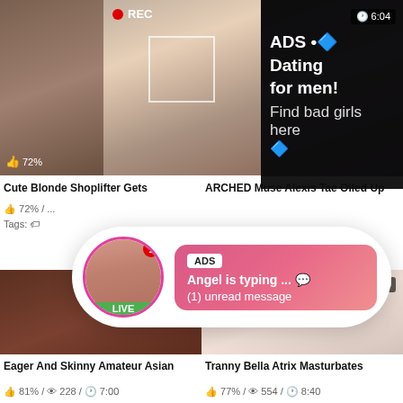[Figure (screenshot): Adult video website screenshot with thumbnails and ad overlays. Top row shows three video thumbnails with a dark ad overlay reading 'ADS • Dating for men! Find bad girls here'. Middle section shows a pink chat notification bubble: 'ADS Angel is typing ... (1) unread message' with LIVE avatar. Bottom row shows two video thumbnails. Video titles: 'Cute Blonde Shoplifter Gets', 'ARCHED Muse Alexis Tae Oiled Up', 'Eager And Skinny Amateur Asian', 'Tranny Bella Atrix Masturbates'. Stats shown include like percentages, view counts, and durations.]